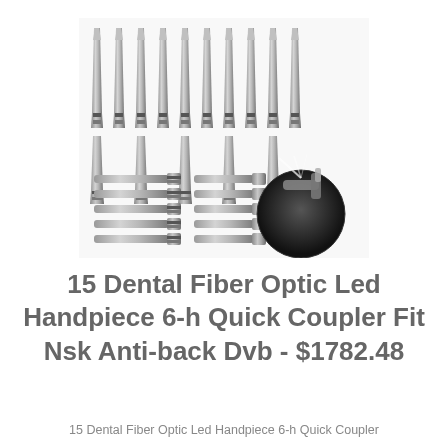[Figure (photo): Product photo showing 15 dental fiber optic LED handpieces arranged in rows — 10 upright handpieces in a row at the top, 5 handpieces below them, and 5 shorter handpieces along the bottom left; with a circular inset photo (black background) showing a close-up of a handpiece emitting a light beam.]
15 Dental Fiber Optic Led Handpiece 6-h Quick Coupler Fit Nsk Anti-back Dvb - $1782.48
15 Dental Fiber Optic Led Handpiece 6-h Quick Coupler